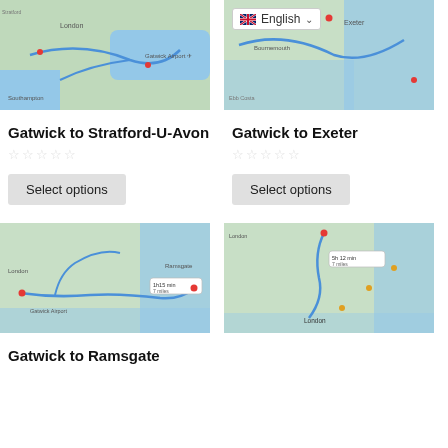[Figure (map): Google Maps route map showing Gatwick to Stratford-U-Avon route]
[Figure (map): Google Maps route map showing Gatwick to Exeter route with English language selector badge]
Gatwick to Stratford-U-Avon
Gatwick to Exeter
[Figure (map): Google Maps route map showing Gatwick to Ramsgate route]
[Figure (map): Google Maps route map showing another Gatwick route]
Gatwick to Ramsgate